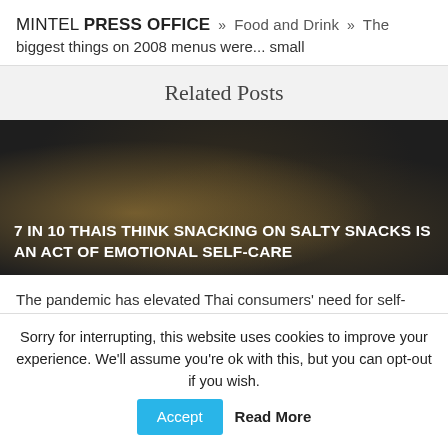MINTEL PRESS OFFICE » Food and Drink » The biggest things on 2008 menus were... small
Related Posts
[Figure (photo): Dark blurred food photo with white bold uppercase text overlay reading: 7 IN 10 THAIS THINK SNACKING ON SALTY SNACKS IS AN ACT OF EMOTIONAL SELF-CARE]
The pandemic has elevated Thai consumers' need for self-care and emotional wellness through snacking. The latest
Sorry for interrupting, this website uses cookies to improve your experience. We'll assume you're ok with this, but you can opt-out if you wish.  Accept  Read More